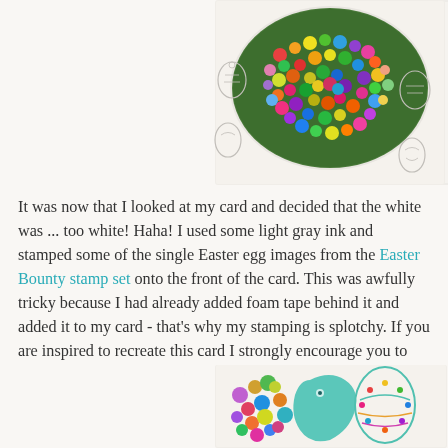[Figure (photo): Top portion of a shaker card with colorful beads/sprinkles inside an egg-shaped window, with Easter egg stamp impressions in light gray on white card background]
It was now that I looked at my card and decided that the white was ... too white! Haha! I used some light gray ink and stamped some of the single Easter egg images from the Easter Bounty stamp set onto the front of the card. This was awfully tricky because I had already added foam tape behind it and added it to my card - that's why my stamping is splotchy. If you are inspired to recreate this card I strongly encourage you to stamp the eggs BEFORE you create your shaker. Haha! Believe me ... save yourself the heartache!
[Figure (photo): Bottom portion of an Easter shaker card showing colorful beads and decorated Easter egg designs with teal/blue and green colors]